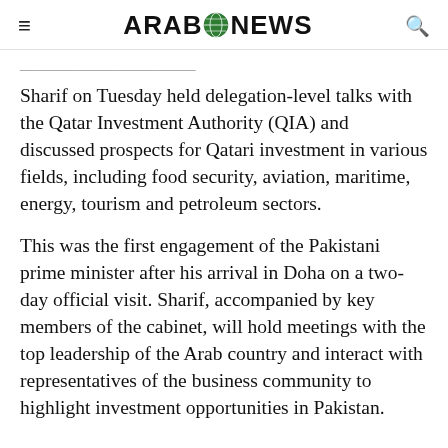ARAB NEWS
...Pakistani prime minister Shehbaz Sharif on Tuesday held delegation-level talks with the Qatar Investment Authority (QIA) and discussed prospects for Qatari investment in various fields, including food security, aviation, maritime, energy, tourism and petroleum sectors.
This was the first engagement of the Pakistani prime minister after his arrival in Doha on a two-day official visit. Sharif, accompanied by key members of the cabinet, will hold meetings with the top leadership of the Arab country and interact with representatives of the business community to highlight investment opportunities in Pakistan.